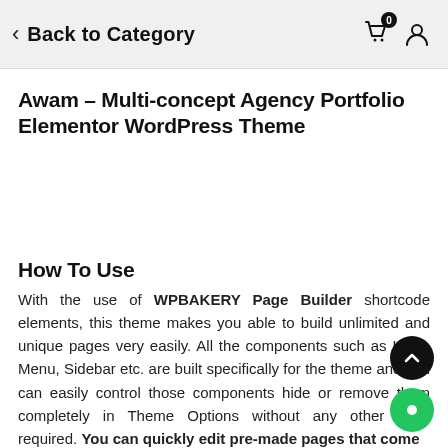Back to Category
Awam – Multi-concept Agency Portfolio Elementor WordPress Theme
How To Use
With the use of WPBAKERY Page Builder shortcode elements, this theme makes you able to build unlimited and unique pages very easily. All the components such as Logo, Menu, Sidebar etc. are built specifically for the theme and you can easily control those components hide or remove them completely in Theme Options without any other code required. You can quickly edit pre-made pages that come